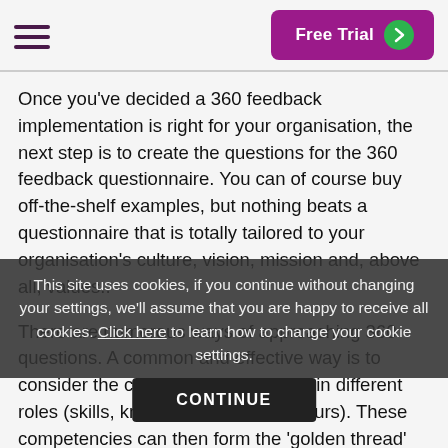Free Trial
Once you've decided a 360 feedback implementation is right for your organisation, the next step is to create the questions for the 360 feedback questionnaire. You can of course buy off-the-shelf examples, but nothing beats a questionnaire that is totally tailored to your organisation's culture, vision, mission and, above all, values..
There are numerous ways of approaching 360 questions. A common and effective way is to consider the competencies involved in different roles (skills, knowledge and behaviours). These competencies can then form the 'golden thread' that runs through the talent management process to inform any promotion or succession decisions.
Another alternative way to approach feedback questions is to consider organisational challenges (such as desired culture or change readiness), personal qualities such as emotional intelligence or the leadership talent factors
This site uses cookies, if you continue without changing your settings, we'll assume that you are happy to receive all cookies. Click here to learn how to change your cookie settings.
CONTINUE